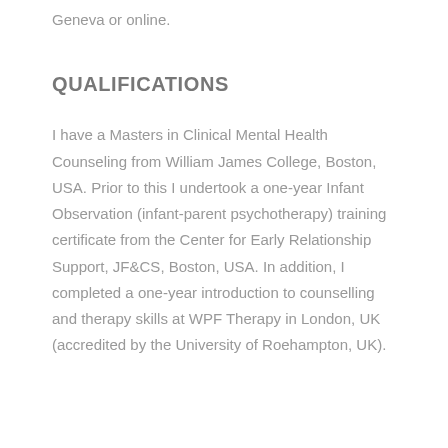Geneva or online.
QUALIFICATIONS
I have a Masters in Clinical Mental Health Counseling from William James College, Boston, USA. Prior to this I undertook a one-year Infant Observation (infant-parent psychotherapy) training certificate from the Center for Early Relationship Support, JF&CS, Boston, USA. In addition, I completed a one-year introduction to counselling and therapy skills at WPF Therapy in London, UK (accredited by the University of Roehampton, UK).